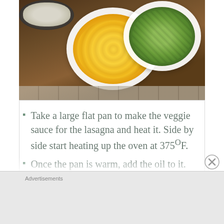[Figure (photo): Overhead view of chopped vegetables in white bowls on a wooden cutting board: yellow bell pepper/squash in a large bowl on the left, diced zucchini in a bowl on the right, and minced onion/garlic visible at the top in a dark pan.]
Take a large flat pan to make the veggie sauce for the lasagna and heat it. Side by side start heating up the oven at 375°F.
Once the pan is warm, add the oil to it. Then add the veggies and sauté them for
Advertisements